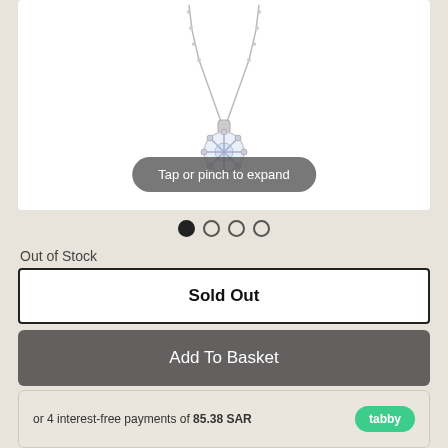[Figure (photo): A silver necklace with a snowflake-style crystal pendant, shown on a white background with a 'Tap or pinch to expand' overlay tooltip.]
Out of Stock
Sold Out
Add To Basket
or 4 interest-free payments of 85.38 SAR